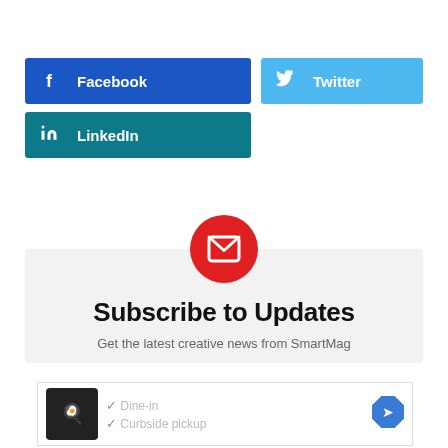[Figure (infographic): Social media share buttons: Facebook (dark blue), Twitter (light blue), LinkedIn (teal)]
[Figure (infographic): Red circular mail icon above a light grey Subscribe to Updates box]
Subscribe to Updates
Get the latest creative news from SmartMag
[Figure (infographic): Advertisement banner with restaurant logo, Dine-in and Curbside pickup options, navigation arrow icon]